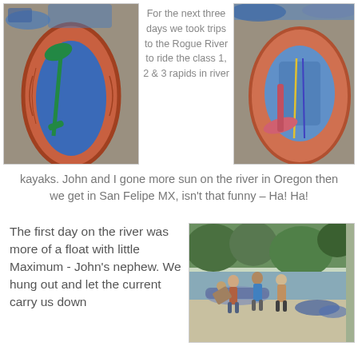[Figure (photo): Orange and blue inflatable river kayak viewed from above, with a green paddle visible, on a gravel surface]
For the next three days we took trips to the Rogue River to ride the class 1, 2 & 3 rapids in river kayaks. John and I gone more sun on the river in Oregon then we get in San Felipe MX, isn't that funny – Ha! Ha!
[Figure (photo): Orange inflatable river kayak viewed from above with blue interior and pink paddles, on a gravel surface]
kayaks. John and I gone more sun on the river in Oregon then we get in San Felipe MX, isn't that funny – Ha! Ha!
The first day on the river was more of a float with little Maximum - John's nephew. We hung out and let the current carry us down
[Figure (photo): Group of people standing by a river with inflatable kayaks, trees in background]